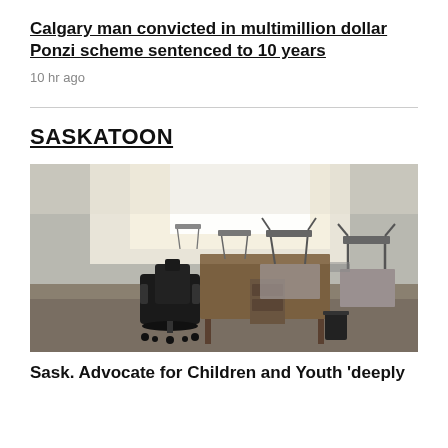Calgary man convicted in multimillion dollar Ponzi scheme sentenced to 10 years
10 hr ago
SASKATOON
[Figure (photo): Empty classroom with chairs stacked on desks, a teacher's desk with a black office chair beside it, and a trash bin on the floor. Bright light from windows in the background.]
Sask. Advocate for Children and Youth 'deeply